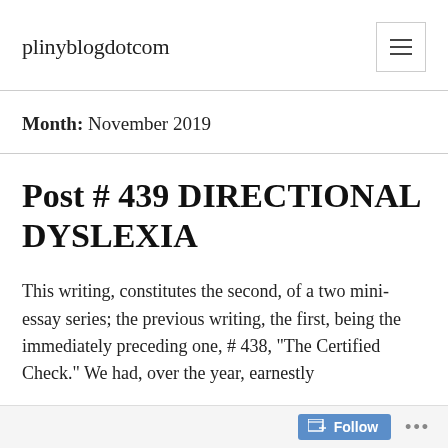plinyblogdotcom
Month: November 2019
Post # 439 DIRECTIONAL DYSLEXIA
This writing, constitutes the second, of a two mini-essay series; the previous writing, the first, being the immediately preceding one, # 438, “The Certified Check.” We had, over the year, earnestly
Follow …